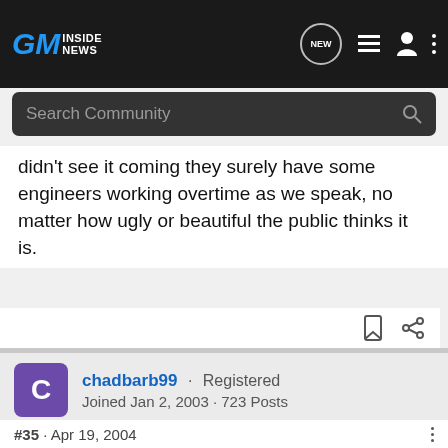[Figure (screenshot): GM Inside News website navigation bar with logo, search bar, and nav icons]
didn't see it coming they surely have some engineers working overtime as we speak, no matter how ugly or beautiful the public thinks it is.
chadbarb99 · Registered
Joined Jan 2, 2003 · 723 Posts
#35 · Apr 19, 2004
According to Car & Driver it went 0-60 in 5.3 seconds, so yes it is faster than a Lexus LS430
[Figure (photo): Pedal Commander advertisement banner: WANNA INCREASE YOUR 0-60?]